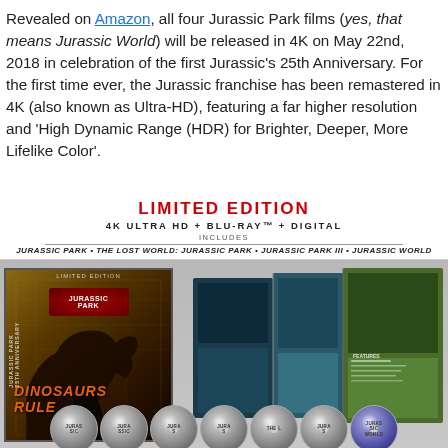Revealed on Amazon, all four Jurassic Park films (yes, that means Jurassic World) will be released in 4K on May 22nd, 2018 in celebration of the first Jurassic's 25th Anniversary. For the first time ever, the Jurassic franchise has been remastered in 4K (also known as Ultra-HD), featuring a far higher resolution and 'High Dynamic Range (HDR) for Brighter, Deeper, More Lifelike Color'.
[Figure (photo): Limited Edition 4K Ultra HD + Blu-Ray + Digital set for Jurassic Park franchise, showing the box set and open book-style case with disc art, and individual Blu-ray discs for Jurassic Park, The Lost World: Jurassic Park, Jurassic Park III, and Jurassic World.]